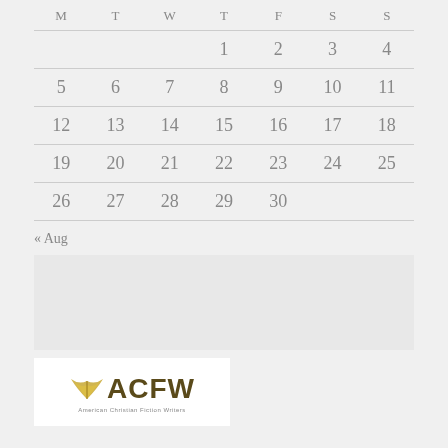| M | T | W | T | F | S | S |
| --- | --- | --- | --- | --- | --- | --- |
|  |  |  | 1 | 2 | 3 | 4 |
| 5 | 6 | 7 | 8 | 9 | 10 | 11 |
| 12 | 13 | 14 | 15 | 16 | 17 | 18 |
| 19 | 20 | 21 | 22 | 23 | 24 | 25 |
| 26 | 27 | 28 | 29 | 30 |  |  |
« Aug
[Figure (other): Gray placeholder box (sidebar widget area)]
[Figure (logo): ACFW - American Christian Fiction Writers logo with golden wing graphic]